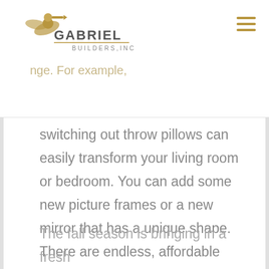Gabriel Builders, Inc.
season, there are some little
nge. For example,
switching out throw pillows can easily transform your living room or bedroom. You can add some new picture frames or a new mirror that has a unique shape. There are endless, affordable options to refresh and renew your space.
The fall season is bringing in a fresh